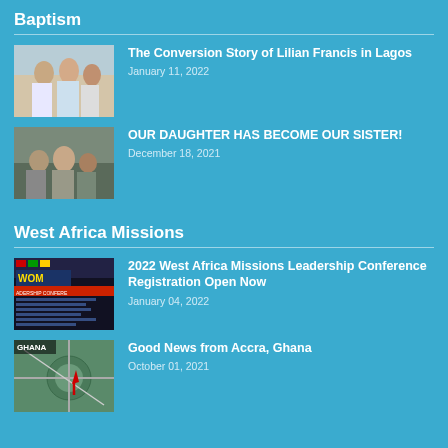Baptism
[Figure (photo): Group photo of people standing together indoors]
The Conversion Story of Lilian Francis in Lagos
January 11, 2022
[Figure (photo): Group of people gathered outdoors, low light]
OUR DAUGHTER HAS BECOME OUR SISTER!
December 18, 2021
West Africa Missions
[Figure (photo): West Africa Missions Leadership Conference poster/banner]
2022 West Africa Missions Leadership Conference Registration Open Now
January 04, 2022
[Figure (photo): Aerial view of Accra, Ghana with a red arrow marker]
Good News from Accra, Ghana
October 01, 2021